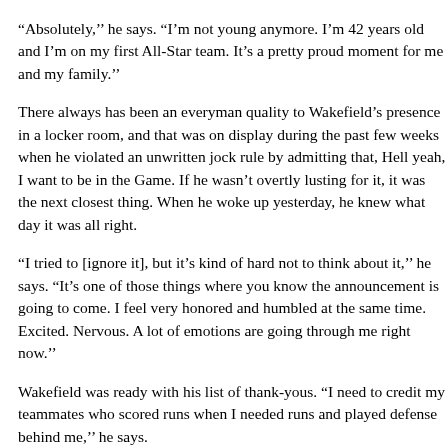“Absolutely,’’ he says. “I’m not young anymore. I’m 42 years old and I’m on my first All-Star team. It’s a pretty proud moment for me and my family.’’
There always has been an everyman quality to Wakefield’s presence in a locker room, and that was on display during the past few weeks when he violated an unwritten jock rule by admitting that, Hell yeah, I want to be in the Game. If he wasn’t overtly lusting for it, it was the next closest thing. When he woke up yesterday, he knew what day it was all right.
“I tried to [ignore it], but it’s kind of hard not to think about it,’’ he says. “It’s one of those things where you know the announcement is going to come. I feel very honored and humbled at the same time. Excited. Nervous. A lot of emotions are going through me right now.’’
Wakefield was ready with his list of thank-yous. “I need to credit my teammates who scored runs when I needed runs and played defense behind me,’’ he says.
Then there’s the training staff that has nursed his 42-year-old body through what has been an injury-free season. People think as long as a knuckleballer is standing on the mound he can pitch, but Wakefield’s back, legs, and of course arm age just like everyone else’s.